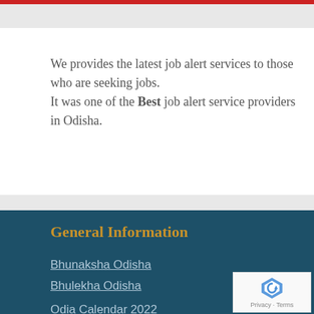We provides the latest job alert services to those who are seeking jobs.
It was one of the Best job alert service providers in Odisha.
General Information
Bhunaksha Odisha
Bhulekha Odisha
Odia Calendar 2022